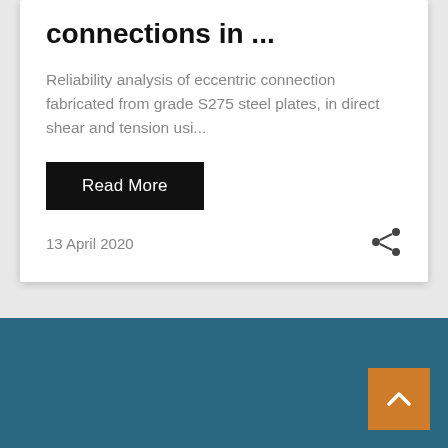connections in ...
Reliability analysis of eccentric connection fabricated from grade S275 steel plates, in direct shear and tension usi...
Read More
13 April 2020